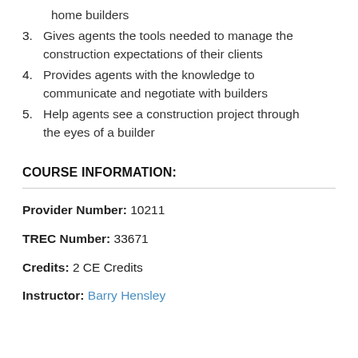home builders
3. Gives agents the tools needed to manage the construction expectations of their clients
4. Provides agents with the knowledge to communicate and negotiate with builders
5. Help agents see a construction project through the eyes of a builder
COURSE INFORMATION:
Provider Number: 10211
TREC Number: 33671
Credits: 2 CE Credits
Instructor: Barry Hensley